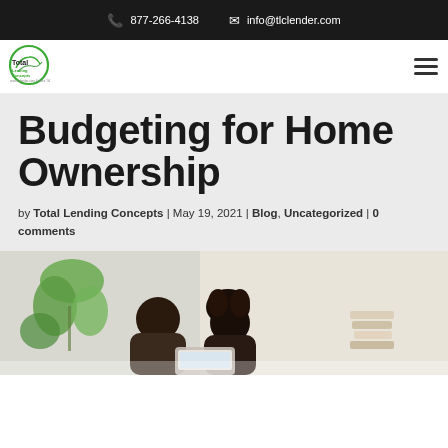877-266-4138   info@tlclender.com
[Figure (logo): Total Lending Concepts logo with circular green graphic and company name]
Budgeting for Home Ownership
by Total Lending Concepts | May 19, 2021 | Blog, Uncategorized | 0 comments
[Figure (photo): Couple sitting together looking at laptop, with plant in background]